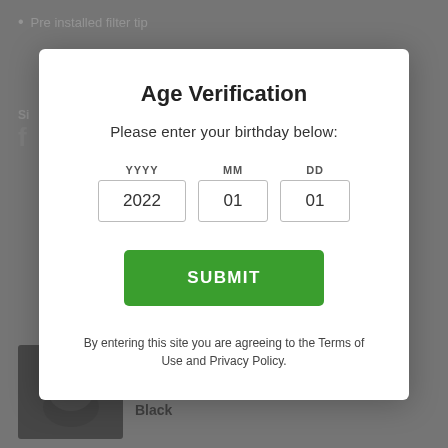Pre installed filter tip
[Figure (screenshot): Background page content showing a product listing page with a bullet point 'Pre installed filter tip', a share section with Facebook icon, and bottom product 'Smokermans Bucket Hat - Black' with a product image.]
Age Verification
Please enter your birthday below:
YYYY  MM  DD
2022  01  01
SUBMIT
By entering this site you are agreeing to the Terms of Use and Privacy Policy.